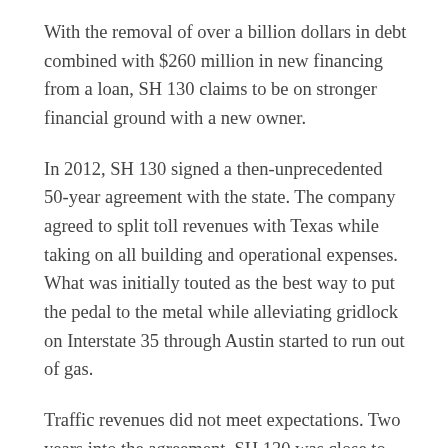With the removal of over a billion dollars in debt combined with $260 million in new financing from a loan, SH 130 claims to be on stronger financial ground with a new owner.
In 2012, SH 130 signed a then-unprecedented 50-year agreement with the state. The company agreed to split toll revenues with Texas while taking on all building and operational expenses. What was initially touted as the best way to put the pedal to the metal while alleviating gridlock on Interstate 35 through Austin started to run out of gas.
Traffic revenues did not meet expectations. Two years into the agreement, SH 130 was close to defaulting on their debt. Financial problems left them with no choice but to pursue a Chapter 11 filing in 2016.
Critics of the public-private partnership feared that Texas